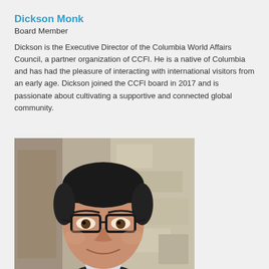Dickson Monk
Board Member
Dickson is the Executive Director of the Columbia World Affairs Council, a partner organization of CCFI. He is a native of Columbia and has had the pleasure of interacting with international visitors from an early age. Dickson joined the CCFI board in 2017 and is passionate about cultivating a supportive and connected global community.
[Figure (photo): Headshot of Dickson Monk, a man with dark hair and black-rimmed glasses, wearing a dark suit and light shirt, photographed against a stone wall background.]